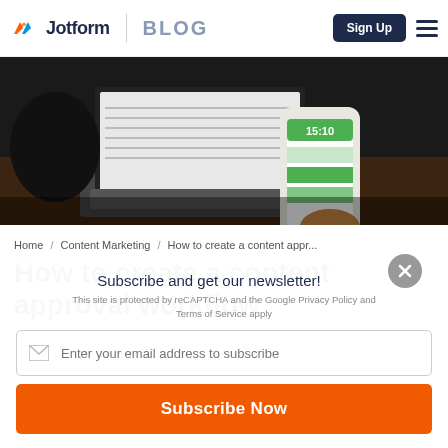Jotform BLOG | Sign Up
[Figure (photo): Person holding a smartphone showing a green form app, with a laptop in the background on a dark desk]
Home / Content Marketing / How to create a content appr...
How to create a content approval workflow
Subscribe and get our newsletter!
This site is protected by reCAPTCHA and the Google Privacy Policy and Terms of Service apply
Enter your email address to subscribe
Subscribe Now